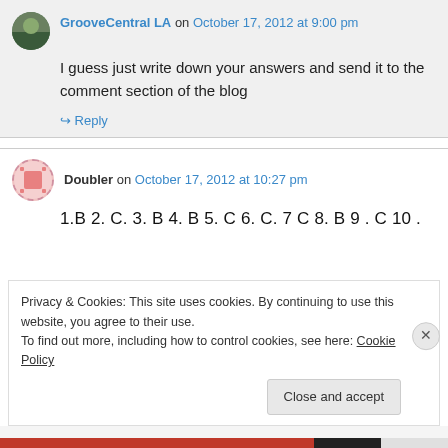GrooveCentral LA on October 17, 2012 at 9:00 pm
I guess just write down your answers and send it to the comment section of the blog
↳ Reply
Doubler on October 17, 2012 at 10:27 pm
1.B 2. C. 3. B 4. B 5. C 6. C. 7 C 8. B 9 . C 10 .
Privacy & Cookies: This site uses cookies. By continuing to use this website, you agree to their use. To find out more, including how to control cookies, see here: Cookie Policy